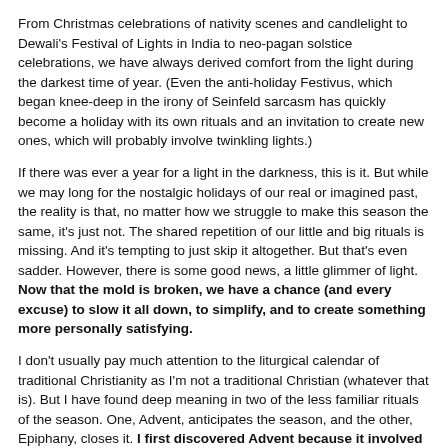From Christmas celebrations of nativity scenes and candlelight to Dewali's Festival of Lights in India to neo-pagan solstice celebrations, we have always derived comfort from the light during the darkest time of year. (Even the anti-holiday Festivus, which began knee-deep in the irony of Seinfeld sarcasm has quickly become a holiday with its own rituals and an invitation to create new ones, which will probably involve twinkling lights.)
If there was ever a year for a light in the darkness, this is it. But while we may long for the nostalgic holidays of our real or imagined past, the reality is that, no matter how we struggle to make this season the same, it's just not. The shared repetition of our little and big rituals is missing. And it's tempting to just skip it altogether. But that's even sadder. However, there is some good news, a little glimmer of light. Now that the mold is broken, we have a chance (and every excuse) to slow it all down, to simplify, and to create something more personally satisfying.
I don't usually pay much attention to the liturgical calendar of traditional Christianity as I'm not a traditional Christian (whatever that is). But I have found deep meaning in two of the less familiar rituals of the season. One, Advent, anticipates the season, and the other, Epiphany, closes it. I first discovered Advent because it involved chocolate and ticking off things on a calendar, two of my favorite things. But while I was frequenting a monastery during this season a few years back I realized there was more to it.
During Advent, the four weeks before Christmas, is a ritual time of patience, a time of waiting. Each week focuses on a theme: hope, peace, joy, and love. As